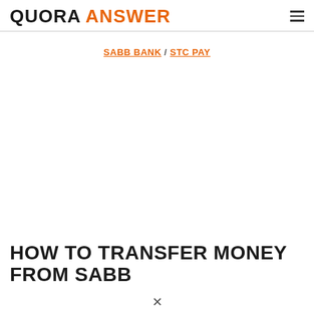QUORA ANSWER
SABB BANK / STC PAY
HOW TO TRANSFER MONEY FROM SABB